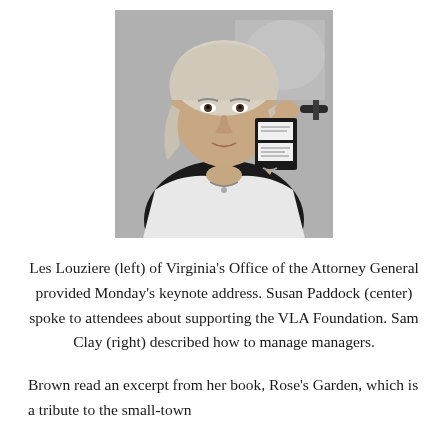[Figure (photo): Black and white photograph of a woman (Les Louziere) holding up what appears to be a small notebook or identification card, with a microphone visible in the background.]
Les Louziere (left) of Virginia's Office of the Attorney General provided Monday's keynote address. Susan Paddock (center) spoke to attendees about supporting the VLA Foundation. Sam Clay (right) described how to manage managers.
Brown read an excerpt from her book, Rose's Garden, which is a tribute to the small-town